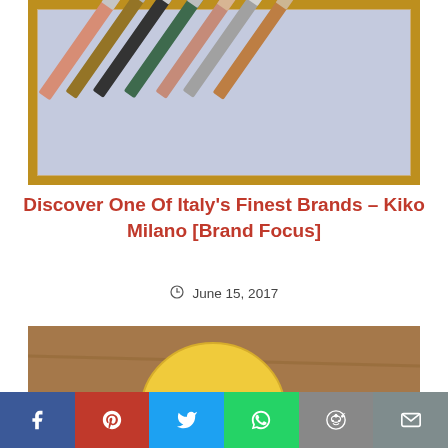[Figure (photo): Photo of multiple cosmetic pencils/lipsticks arranged in a gold-framed box, viewed from above]
Discover One Of Italy's Finest Brands – Kiko Milano [Brand Focus]
June 15, 2017
[Figure (photo): Photo of lemons on a wooden cutting board — one whole lemon and two lemon halves showing yellow flesh]
[Figure (infographic): Social media share bar with Facebook, Pinterest, Twitter, WhatsApp, Reddit, and Email buttons]